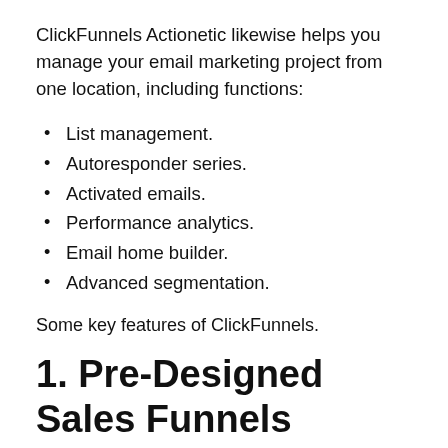ClickFunnels Actionetic likewise helps you manage your email marketing project from one location, including functions:
List management.
Autoresponder series.
Activated emails.
Performance analytics.
Email home builder.
Advanced segmentation.
Some key features of ClickFunnels.
1. Pre-Designed Sales Funnels Templates.
ClickFunnels looks after the heavy lifting for